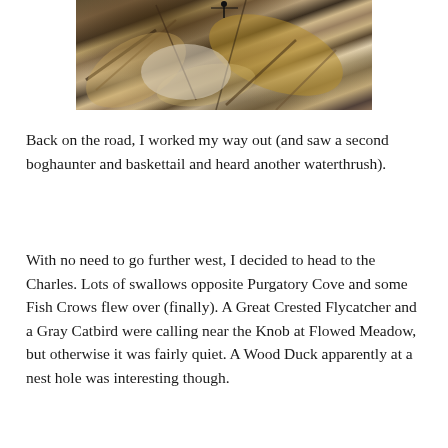[Figure (photo): Close-up photo of dead leaves, dried vegetation, twigs and debris on the ground, with what appears to be an insect (dragonfly or similar) visible at the top of the frame.]
Back on the road, I worked my way out (and saw a second boghaunter and baskettail and heard another waterthrush).
With no need to go further west, I decided to head to the Charles. Lots of swallows opposite Purgatory Cove and some Fish Crows flew over (finally). A Great Crested Flycatcher and a Gray Catbird were calling near the Knob at Flowed Meadow, but otherwise it was fairly quiet. A Wood Duck apparently at a nest hole was interesting though.